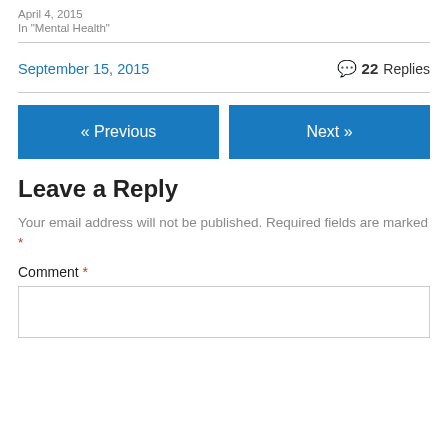April 4, 2015
In "Mental Health"
September 15, 2015   💬 22 Replies
« Previous
Next »
Leave a Reply
Your email address will not be published. Required fields are marked *
Comment *